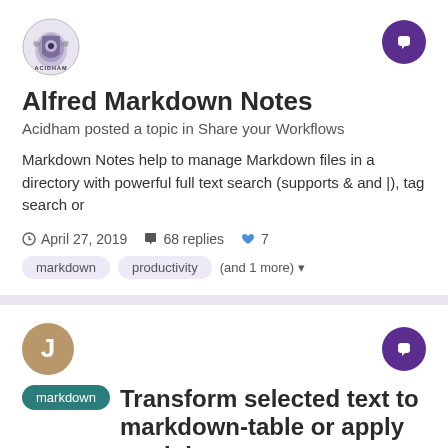[Figure (logo): Acidham logo - circular badge with eagle/shield design and ACIDHAM text]
Alfred Markdown Notes
Acidham posted a topic in Share your Workflows
Markdown Notes help to manage Markdown files in a directory with powerful full text search (supports & and |), tag search or
April 27, 2019   68 replies   7
markdown
productivity
(and 1 more)
[Figure (illustration): J avatar - golden/tan circle with letter J]
Transform selected text to markdown-table or apply markdown grammar
jopemachine posted a topic in Share your Workflows